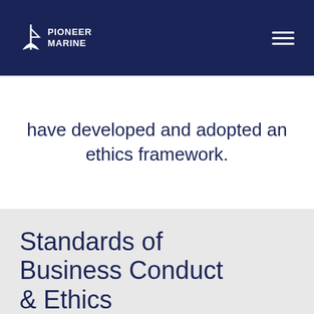Pioneer Marine
have developed and adopted an ethics framework.
Standards of Business Conduct & Ethics